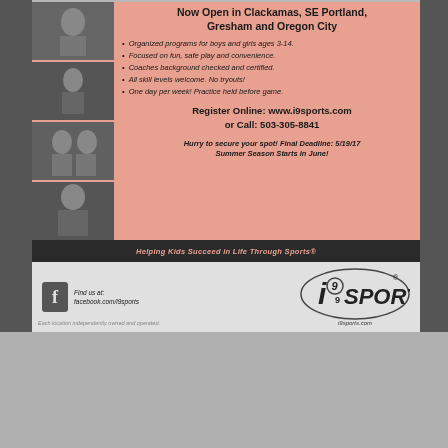Now Open in Clackamas, SE Portland, Gresham and Oregon City
Organized programs for boys and girls ages 3-14.
Focused on fun, safe play and convenience.
Coaches background checked and certified.
All skill levels welcome. No tryouts!
One day per week! Practice held before game.
Register Online: www.i9sports.com or Call: 503-305-8841
Hurry to secure your spot! Final Deadline: 5/19/17 Summer Season Starts in June!
Helping Kids Succeed in Life Through Sports®
Find us at: facebook.com/i9sports
[Figure (logo): i9 Sports logo]
Each location independently owned and operated.